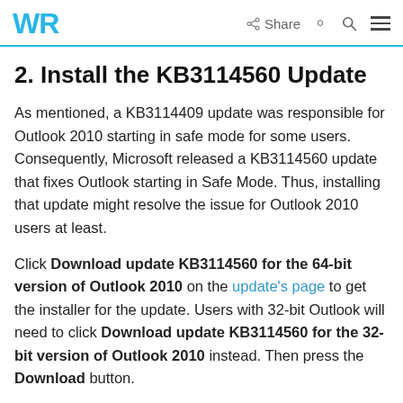WR | Share [search] [menu]
2. Install the KB3114560 Update
As mentioned, a KB3114409 update was responsible for Outlook 2010 starting in safe mode for some users. Consequently, Microsoft released a KB3114560 update that fixes Outlook starting in Safe Mode. Thus, installing that update might resolve the issue for Outlook 2010 users at least.
Click Download update KB3114560 for the 64-bit version of Outlook 2010 on the update's page to get the installer for the update. Users with 32-bit Outlook will need to click Download update KB3114560 for the 32-bit version of Outlook 2010 instead. Then press the Download button.